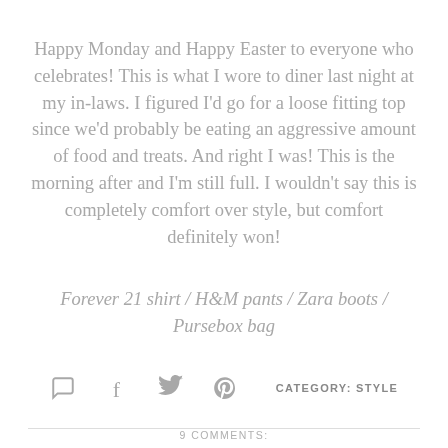Happy Monday and Happy Easter to everyone who celebrates! This is what I wore to diner last night at my in-laws. I figured I'd go for a loose fitting top since we'd probably be eating an aggressive amount of food and treats. And right I was! This is the morning after and I'm still full. I wouldn't say this is completely comfort over style, but comfort definitely won!
Forever 21 shirt / H&M pants / Zara boots / Pursebox bag
[Figure (infographic): Row of social sharing icons: comment bubble, facebook f, twitter bird, pinterest p, followed by CATEGORY: STYLE label]
9 COMMENTS: